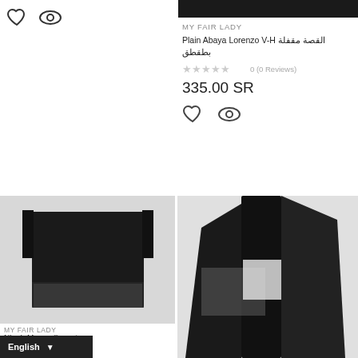[Figure (photo): Top right: black abaya product image, partially visible at top]
[Figure (other): Heart and eye/view icons in top left]
MY FAIR LADY
Plain Abaya Lorenzo V-H القصة مقفلة بطقطق
0 (0 Reviews)
335.00 SR
[Figure (other): Heart and eye icons below price]
[Figure (photo): Bottom left: Nigab Marenello product photo, black veil/niqab on white background]
[Figure (photo): Bottom right: Black fabric/veil product photo on white background]
MY FAIR LADY
Nigab Marenello ناعم
English